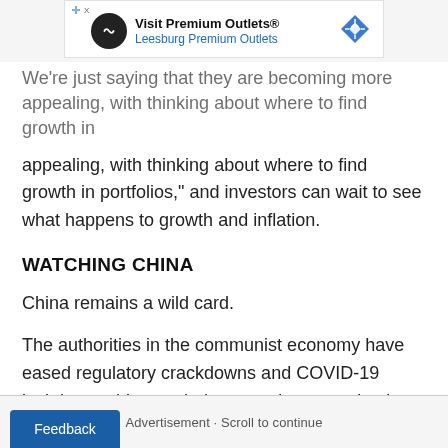[Figure (other): Advertisement banner for Visit Premium Outlets® – Leesburg Premium Outlets, with circular logo and blue diamond navigation icon]
We're just saying that they are becoming more appealing, with thinking about where to find growth in portfolios," and investors can wait to see what happens to growth and inflation.
WATCHING CHINA
China remains a wild card.
The authorities in the communist economy have eased regulatory crackdowns and COVID-19 lockdowns this month, but questions remain about how fast the economy will recover.
Advertisement · Scroll to continue